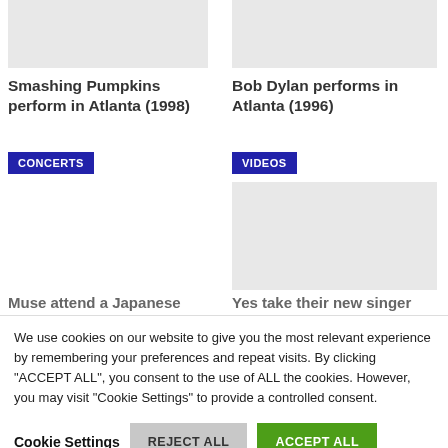[Figure (photo): Gray placeholder image for Smashing Pumpkins article]
Smashing Pumpkins perform in Atlanta (1998)
CONCERTS
[Figure (photo): Gray placeholder image for Bob Dylan article]
Bob Dylan performs in Atlanta (1996)
VIDEOS
[Figure (photo): Gray placeholder image for second row]
Muse attend a Japanese
Yes take their new singer
We use cookies on our website to give you the most relevant experience by remembering your preferences and repeat visits. By clicking "ACCEPT ALL", you consent to the use of ALL the cookies. However, you may visit "Cookie Settings" to provide a controlled consent.
Cookie Settings
REJECT ALL
ACCEPT ALL